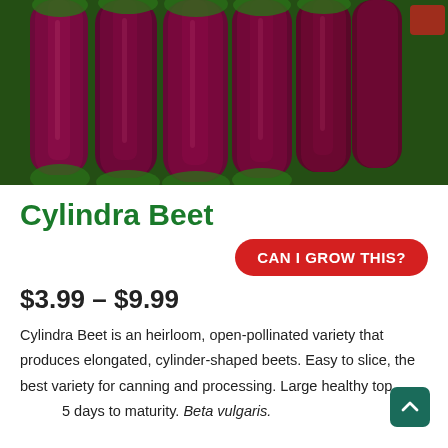[Figure (photo): Close-up photo of cylindrical deep red/purple Cylindra beets with green leafy tops, arranged together.]
Cylindra Beet
CAN I GROW THIS?
$3.99 – $9.99
Cylindra Beet is an heirloom, open-pollinated variety that produces elongated, cylinder-shaped beets. Easy to slice, the best variety for canning and processing. Large healthy tops. 65 days to maturity. Beta vulgaris.